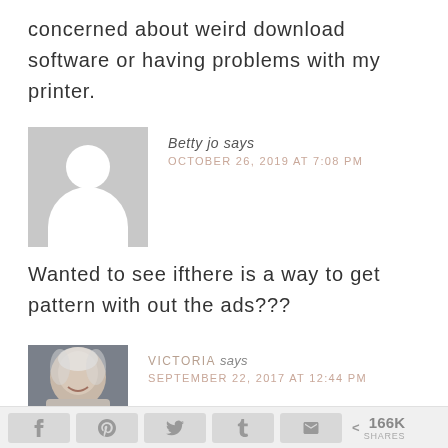concerned about weird download software or having problems with my printer.
[Figure (illustration): Generic user avatar placeholder — grey rectangle with white silhouette of a person (head and shoulders)]
Betty jo says
OCTOBER 26, 2019 AT 7:08 PM
Wanted to see ifthere is a way to get pattern with out the ads???
[Figure (photo): Photo of a woman with white/silver hair smiling, grey background]
VICTORIA says
SEPTEMBER 22, 2017 AT 12:44 PM
166K SHARES